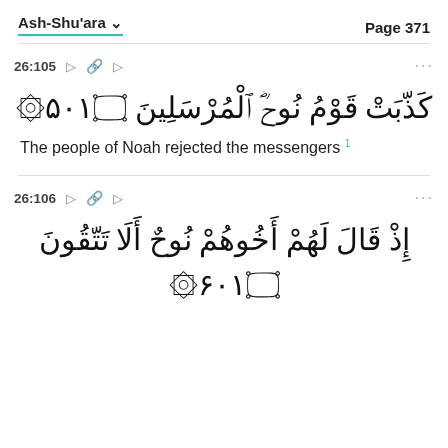Ash-Shu'ara    Page 371
26:105
كَذَّبَتْ قَوْمُ نُوحٍ ٱلْمُرْسَلِينَ ١٠٥
The people of Noah rejected the messengers 1
26:106
إِذْ قَالَ لَهُمْ أَخُوهُمْ نُوحٌ أَلَا تَتَّقُونَ ١٠٦